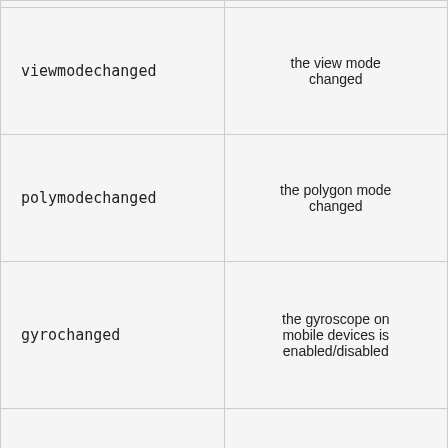| viewmodechanged | the view mode changed |
| polymodechanged | the polygon mode changed |
| gyrochanged | the gyroscope on mobile devices is enabled/disabled |
| autorotatechanged | autorotation is started/stopped |
| imagesready | the panorama has finished loading |
| timer | a continuous timer |